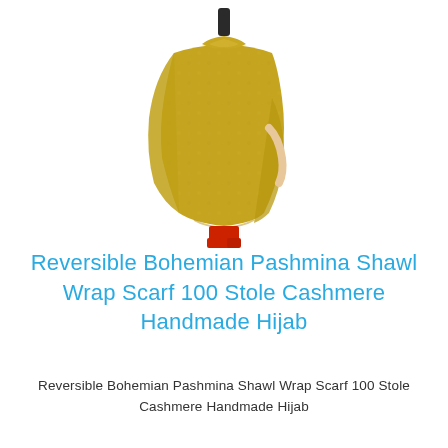[Figure (photo): A mannequin/dress form draped in a golden-yellow/olive patterned pashmina shawl wrap, with red trousers visible at the bottom. The mannequin has a dark head/neck stand. White background.]
Reversible Bohemian Pashmina Shawl Wrap Scarf 100 Stole Cashmere Handmade Hijab
Reversible Bohemian Pashmina Shawl Wrap Scarf 100 Stole Cashmere Handmade Hijab